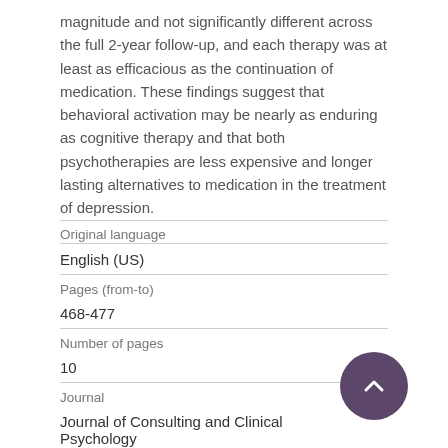magnitude and not significantly different across the full 2-year follow-up, and each therapy was at least as efficacious as the continuation of medication. These findings suggest that behavioral activation may be nearly as enduring as cognitive therapy and that both psychotherapies are less expensive and longer lasting alternatives to medication in the treatment of depression.
| Original language |  |
| English (US) |  |
| Pages (from-to) |  |
| 468-477 |  |
| Number of pages |  |
| 10 |  |
| Journal |  |
| Journal of Consulting and Clinical Psychology |  |
| Volume |  |